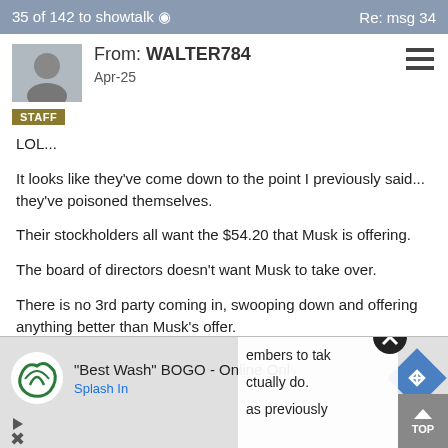35 of 142 to showtalk ✓   Re: msg 34
From: WALTER784
Apr-25
STAFF
LOL...
It looks like they've come down to the point I previously said... they've poisoned themselves.
Their stockholders all want the $54.20 that Musk is offering.
The board of directors doesn't want Musk to take over.
There is no 3rd party coming in, swooping down and offering anything better than Musk's offer.
They know what will happen if they refuse Musk's offer... he will sell all the shares he currently owns and their stocks will go into freefall and nothing can save them.
[Figure (screenshot): Advertisement banner: "Best Wash" BOGO - Online Only, Splash In, with logo and navigation arrow]